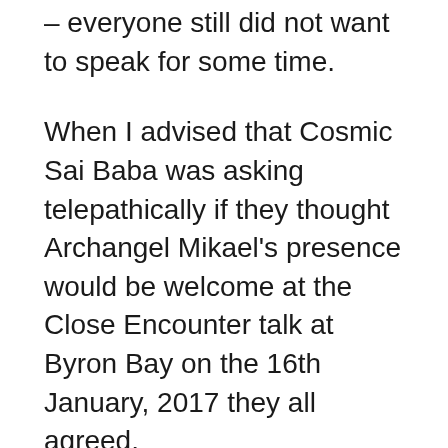– everyone still did not want to speak for some time.
When I advised that Cosmic Sai Baba was asking telepathically if they thought Archangel Mikael's presence would be welcome at the Close Encounter talk at Byron Bay on the 16th January, 2017 they all agreed.
They then began talking and sharing their personal experiences while the Archangel visited – after a while talk began about conspiracies and I was observing with some concern how the energy in the room completely fell apart.  It was like shards of glass breaking and falling to the ground shattering the beautiful energy that had